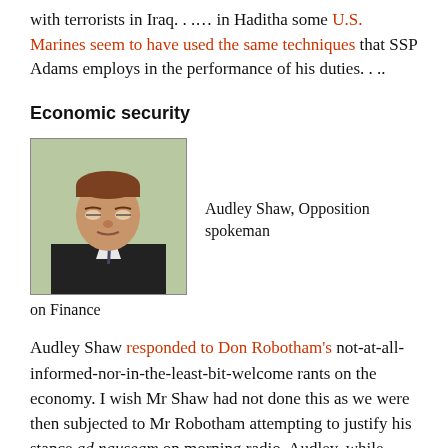with terrorists in Iraq. . .... in Haditha some U.S. Marines seem to have used the same techniques that SSP Adams employs in the performance of his duties. . ..
Economic security
[Figure (photo): Photo of Audley Shaw, a man in a dark suit, with caption 'Audley Shaw, Opposition spokeman on Finance']
Audley Shaw responded to Don Robotham's not-at-all-informed-nor-in-the-least-bit-welcome rants on the economy. I wish Mr Shaw had not done this as we were then subjected to Mr Robotham attempting to justify his stance ad nauseam on morning radio. Audley, while understanding your annoyance, remember: Answer fools with silence. –